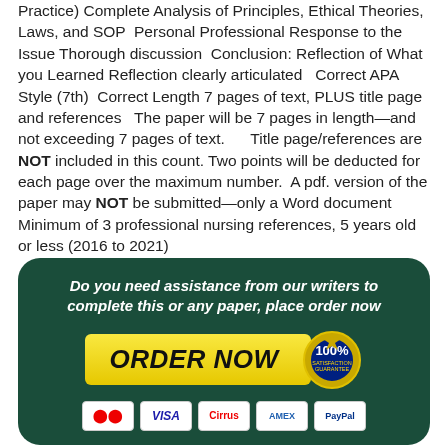Practice) Complete Analysis of Principles, Ethical Theories, Laws, and SOP  Personal Professional Response to the Issue Thorough discussion  Conclusion: Reflection of What you Learned Reflection clearly articulated   Correct APA Style (7th)  Correct Length 7 pages of text, PLUS title page and references   The paper will be 7 pages in length—and not exceeding 7 pages of text.      Title page/references are NOT included in this count. Two points will be deducted for each page over the maximum number.  A pdf. version of the paper may NOT be submitted—only a Word document Minimum of 3 professional nursing references, 5 years old or less (2016 to 2021)
[Figure (infographic): Dark green rounded banner with white bold italic text 'Do you need assistance from our writers to complete this or any paper, place order now', a yellow ORDER NOW button with a 100% satisfaction guarantee seal badge, and payment card logos (Mastercard, VISA, Cirrus, Amex, PayPal)]